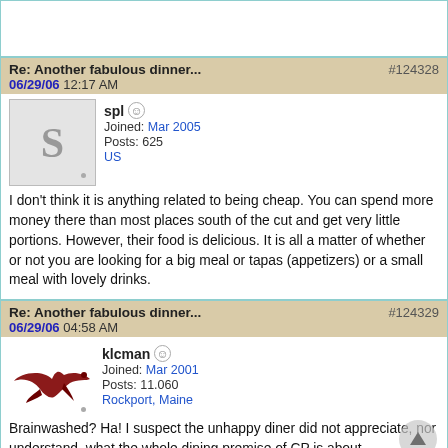(top strip area)
Re: Another fabulous dinner... #124328 06/29/06 12:17 AM
spl  Joined: Mar 2005  Posts: 625  US
I don't think it is anything related to being cheap. You can spend more money there than most places south of the cut and get very little portions. However, their food is delicious. It is all a matter of whether or not you are looking for a big meal or tapas (appetizers) or a small meal with lovely drinks.
Re: Another fabulous dinner... #124329 06/29/06 04:58 AM
klcman  Joined: Mar 2001  Posts: 11.060  Rockport, Maine
Brainwashed? Ha! I suspect the unhappy diner did not appreciate, nor understand, what the whole dining premise of CP is about.